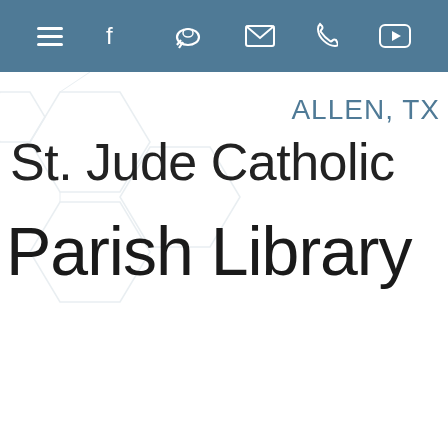Navigation bar with hamburger menu, Facebook, social, email, phone, YouTube icons
ALLEN, TX
St. Jude Catholic
Parish Library
[Figure (photo): Collage of Catholic books including 'MASS' book in red, various religious titles, with a pill-shaped button overlay reading 'Mass Times & Directions']